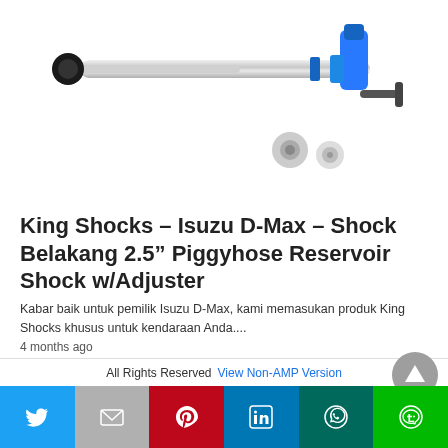[Figure (photo): King Shocks shock absorber product image showing a chrome/silver shock absorber with blue reservoir and fittings against white background]
King Shocks – Isuzu D-Max – Shock Belakang 2.5” Piggyhose Reservoir Shock w/Adjuster
Kabar baik untuk pemilik Isuzu D-Max, kami memasukan produk King Shocks khusus untuk kendaraan Anda....
4 months ago
All Rights Reserved  View Non-AMP Version
[Figure (other): Social share bar with Twitter, Gmail, Pinterest, LinkedIn, WhatsApp, and LINE buttons]